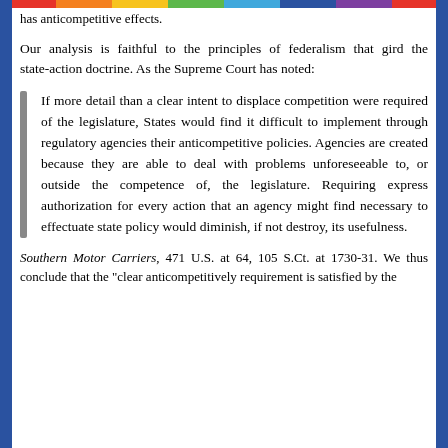has anticompetitive effects.
Our analysis is faithful to the principles of federalism that gird the state-action doctrine. As the Supreme Court has noted:
If more detail than a clear intent to displace competition were required of the legislature, States would find it difficult to implement through regulatory agencies their anticompetitive policies. Agencies are created because they are able to deal with problems unforeseeable to, or outside the competence of, the legislature. Requiring express authorization for every action that an agency might find necessary to effectuate state policy would diminish, if not destroy, its usefulness.
Southern Motor Carriers, 471 U.S. at 64, 105 S.Ct. at 1730-31. We thus conclude that the "clear anticompetitively requirement is satisfied by the